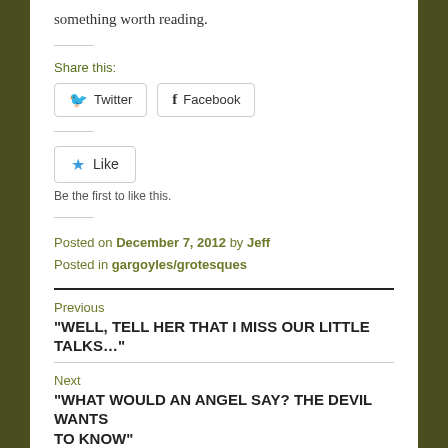something worth reading.
Share this:
Twitter   Facebook
Like
Be the first to like this.
Posted on December 7, 2012 by Jeff
Posted in gargoyles/grotesques
Previous
"WELL, TELL HER THAT I MISS OUR LITTLE TALKS..."
Next
"WHAT WOULD AN ANGEL SAY? THE DEVIL WANTS TO KNOW"